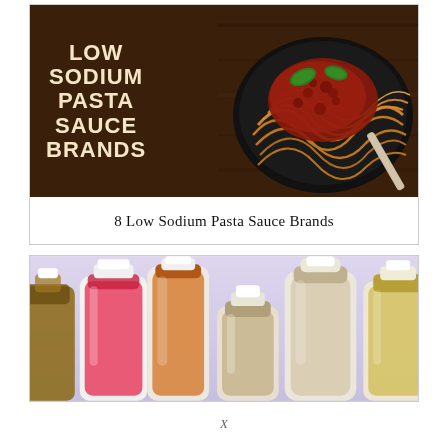[Figure (photo): A dark wooden background showing spaghetti bolognese in a black pan with basil leaves and a fork. Text overlay reads 'LOW SODIUM PASTA SAUCE BRANDS' in bold cream/tan uppercase letters on the left side.]
8 Low Sodium Pasta Sauce Brands
[Figure (photo): Several clear plastic bottles of various salad dressings and sauces arranged side by side against a light purple/lavender background. Colors range from red/pink to tan/cream to yellow/golden.]
X